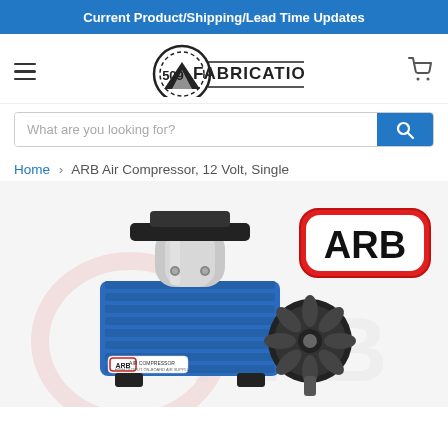Current Product/Shipping/Lead Time Updates
[Figure (logo): 509 Fabrication logo with mountain and gear icon]
What are you looking for?
Home > ARB Air Compressor, 12 Volt, Single
[Figure (photo): ARB Air Compressor 12 Volt Single product photo with ARB logo badge in red and black]